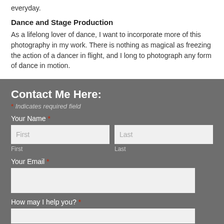everyday.
Dance and Stage Production
As a lifelong lover of dance, I want to incorporate more of this photography in my work. There is nothing as magical as freezing the action of a dancer in flight, and I long to photograph any form of dance in motion.
Contact Me Here:
* Indicates required field
Your Name *
First
Last
First
Last
Your Email *
How may I help you? *